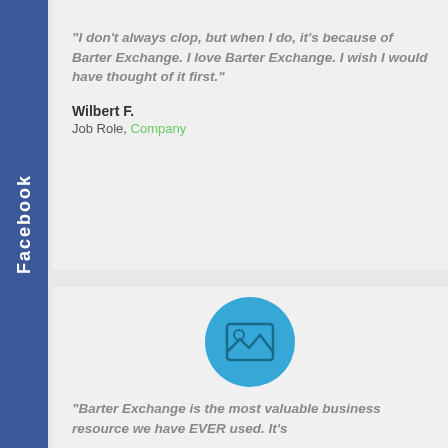[Figure (illustration): Partial blue circle avatar placeholder at top of first testimonial card]
“I don’t always clop, but when I do, it’s because of Barter Exchange. I love Barter Exchange. I wish I would have thought of it first.”
Wilbert F.
Job Role, Company
[Figure (illustration): Blue circle avatar placeholder with image icon for second testimonial card]
“Barter Exchange is the most valuable business resource we have EVER used. It’s